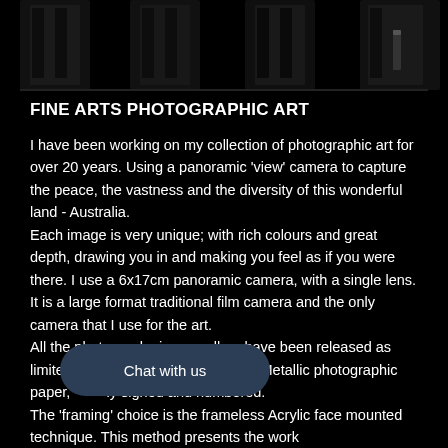[Figure (photo): Dark abstract photographic art showing silhouetted forms on black background, cropped at top of page]
FINE ARTS PHOTOGRAPHIC ART
I have been working on my collection of photographic art for over 20 years. Using a panoramic ‘view’ camera to capture the peace, the vastness and the diversity of this wonderful land - Australia.
Each image is very unique; with rich colours and great depth, drawing you in and making you feel as if you were there. I use a 6x17cm panoramic camera, with a single lens. It is a large format traditional film camera and the only camera that I use for the art.
All the photographs in my gallery have been released as limited edition prints. Printed on Metallic photographic paper, each is personally signed and numbered.
The ‘framing’ choice is the frameless Acrylic face mounted technique. This method presents the work...